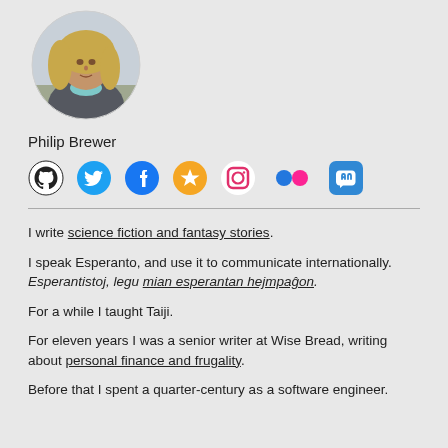[Figure (photo): Circular profile photo of Philip Brewer, a person with medium-length blonde hair wearing a gray hoodie, photographed outdoors.]
Philip Brewer
[Figure (infographic): Row of social media icons: GitHub (black), Twitter (blue bird), Facebook (blue circle with f), Micro.blog (orange circle with star), Instagram (pink/red square camera), Flickr (blue/pink dots), Mastodon (blue elephant mascot icon)]
I write science fiction and fantasy stories.
I speak Esperanto, and use it to communicate internationally. Esperantistoj, legu mian esperantan hejmpaĝon.
For a while I taught Taiji.
For eleven years I was a senior writer at Wise Bread, writing about personal finance and frugality.
Before that I spent a quarter-century as a software engineer.